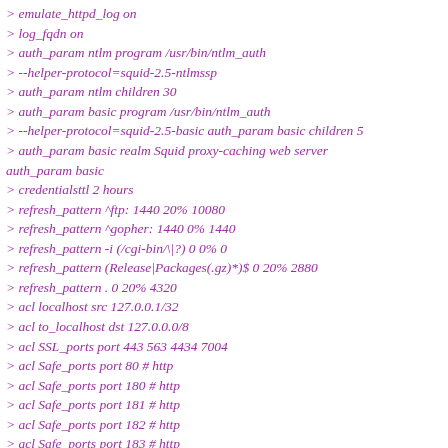> emulate_httpd_log on
> log_fqdn on
> auth_param ntlm program /usr/bin/ntlm_auth
> --helper-protocol=squid-2.5-ntlmssp
> auth_param ntlm children 30
> auth_param basic program /usr/bin/ntlm_auth
> --helper-protocol=squid-2.5-basic auth_param basic children 5
> auth_param basic realm Squid proxy-caching web server auth_param basic
> credentialsttl 2 hours
> refresh_pattern ^ftp: 1440 20% 10080
> refresh_pattern ^gopher: 1440 0% 1440
> refresh_pattern -i (/cgi-bin/|\?) 0 0% 0
> refresh_pattern (Release|Packages(.gz)*)$ 0 20% 2880
> refresh_pattern . 0 20% 4320
> acl localhost src 127.0.0.1/32
> acl to_localhost dst 127.0.0.0/8
> acl SSL_ports port 443 563 4434 7004
> acl Safe_ports port 80 # http
> acl Safe_ports port 180 # http
> acl Safe_ports port 181 # http
> acl Safe_ports port 182 # http
> acl Safe_ports port 183 # http
> acl Safe_ports port 184 # http
> acl Safe_ports port 185 # http